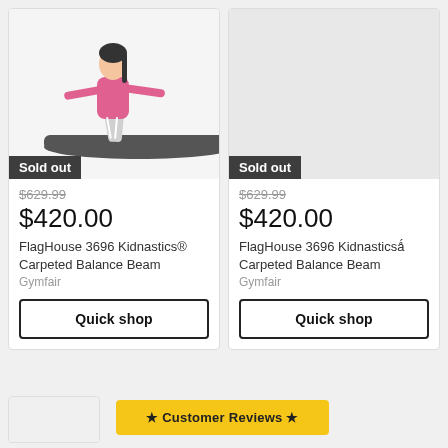[Figure (photo): Girl balancing on a balance beam, wearing pink jacket and white pants]
Sold out
$629.99
$420.00
FlagHouse 3696 Kidnastics® Carpeted Balance Beam
Gymfair
Quick shop
[Figure (photo): No image loaded – gray placeholder]
Sold out
$629.99
$420.00
FlagHouse 3696 Kidnasticså˝ Carpeted Balance Beam
Gymfair
Quick shop
★ Customer Reviews ★